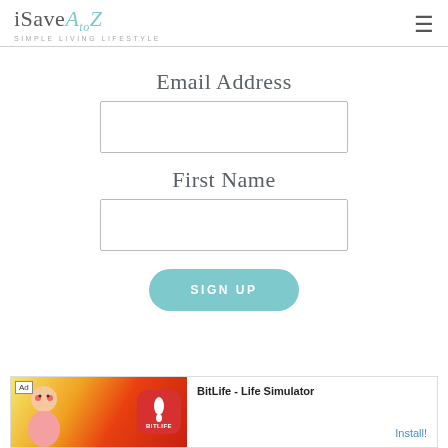iSaveAtoZ - SIMPLE LIVING LIFESTYLE
Email Address
First Name
SIGN UP
[Figure (screenshot): Advertisement banner for BitLife - Life Simulator app with install button]